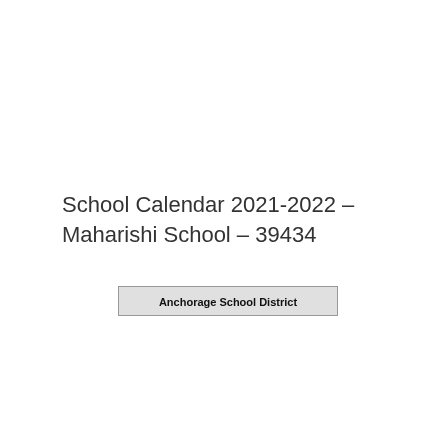School Calendar 2021-2022 – Maharishi School – 39434
Anchorage School District